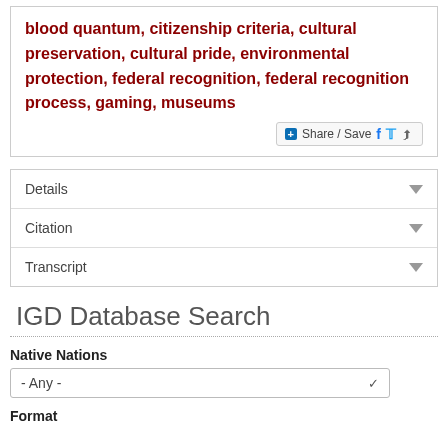blood quantum, citizenship criteria, cultural preservation, cultural pride, environmental protection, federal recognition, federal recognition process, gaming, museums
[Figure (other): Share / Save button with Facebook, Twitter, and share icons]
Details
Citation
Transcript
IGD Database Search
Native Nations
- Any -
Format